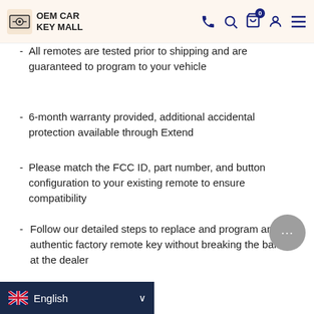OEM CAR KEY MALL
All remotes are tested prior to shipping and are guaranteed to program to your vehicle
6-month warranty provided, additional accidental protection available through Extend
Please match the FCC ID, part number, and button configuration to your existing remote to ensure compatibility
Follow our detailed steps to replace and program an authentic factory remote key without breaking the bank at the dealer
FCC ID: HYQ4EA
Part #: 13508771, 13508770 , 13529661 , 13529660 , 13584504
Buttons: 4
Frequency: 433 Mhz
...bished (like new)